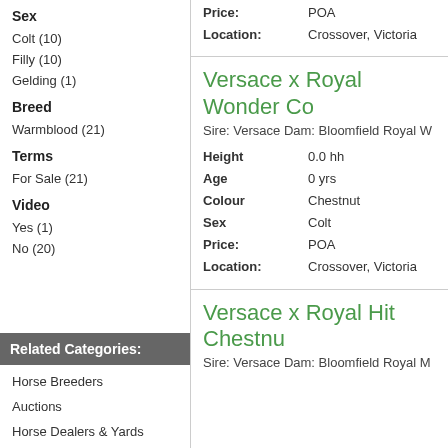Sex
Colt (10)
Filly (10)
Gelding (1)
Breed
Warmblood (21)
Terms
For Sale (21)
Video
Yes (1)
No (20)
Related Categories:
Horse Breeders
Auctions
Horse Dealers & Yards
| Field | Value |
| --- | --- |
| Price: | POA |
| Location: | Crossover, Victoria |
Versace x Royal Wonder Co
Sire: Versace Dam: Bloomfield Royal W
| Field | Value |
| --- | --- |
| Height | 0.0 hh |
| Age | 0 yrs |
| Colour | Chestnut |
| Sex | Colt |
| Price: | POA |
| Location: | Crossover, Victoria |
Versace x Royal Hit Chestnu
Sire: Versace Dam: Bloomfield Royal M